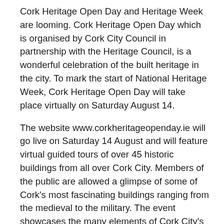Cork Heritage Open Day and Heritage Week are looming. Cork Heritage Open Day which is organised by Cork City Council in partnership with the Heritage Council, is a wonderful celebration of the built heritage in the city. To mark the start of National Heritage Week, Cork Heritage Open Day will take place virtually on Saturday August 14.
The website www.corkheritageopenday.ie will go live on Saturday 14 August and will feature virtual guided tours of over 45 historic buildings from all over Cork City. Members of the public are allowed a glimpse of some of Cork's most fascinating buildings ranging from the medieval to the military. The event showcases the many elements of Cork City's rich heritage in a fun, family friendly way. The team behind the Open Day do group the buildings into general themes, Steps and Steeples, Customs and Commerce, Medieval to Modern, Saints and Scholars and Life and Learning.